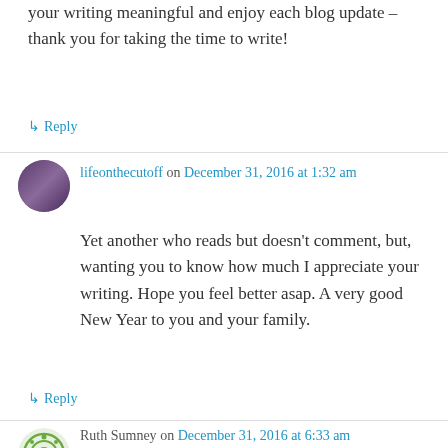your writing meaningful and enjoy each blog update – thank you for taking the time to write!
↳ Reply
lifeonthecutoff on December 31, 2016 at 1:32 am
Yet another who reads but doesn't comment, but, wanting you to know how much I appreciate your writing. Hope you feel better asap. A very good New Year to you and your family.
↳ Reply
Ruth Sumney on December 31, 2016 at 6:33 am
Ben- wishing you inner peace & much happiness